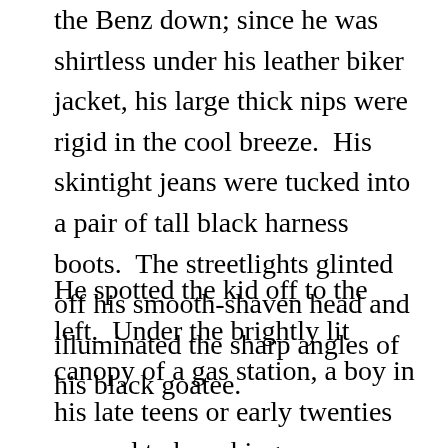the Benz down; since he was shirtless under his leather biker jacket, his large thick nips were rigid in the cool breeze.  His skintight jeans were tucked into a pair of tall black harness boots.  The streetlights glinted off his smooth-shaven head and illuminated the sharp angles of his black goatee.
He spotted the kid off to the left.  Under the brightly lit canopy of a gas station, a boy in his late teens or early twenties seemed to be asking a woman for something; as Carlos watched, she shook her head emphatically and climbed into an SUV.  She pulled away so fast